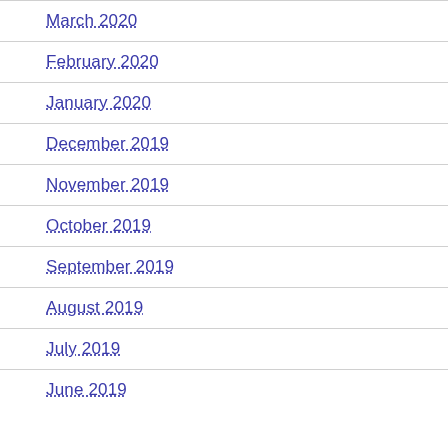March 2020
February 2020
January 2020
December 2019
November 2019
October 2019
September 2019
August 2019
July 2019
June 2019